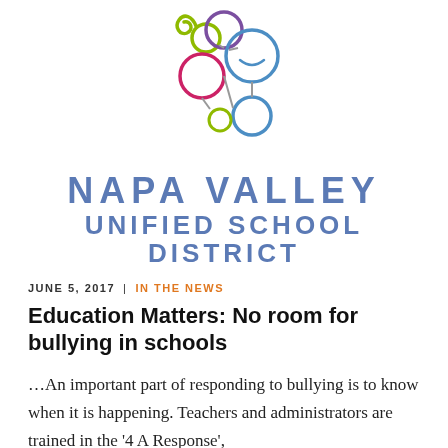[Figure (logo): Napa Valley Unified School District logo — colorful interconnected circles in olive/yellow-green, magenta/pink, blue, and purple arranged in an abstract cluster pattern]
NAPA VALLEY UNIFIED SCHOOL DISTRICT
JUNE 5, 2017  |  IN THE NEWS
Education Matters: No room for bullying in schools
…An important part of responding to bullying is to know when it is happening. Teachers and administrators are trained in the '4 A Response',